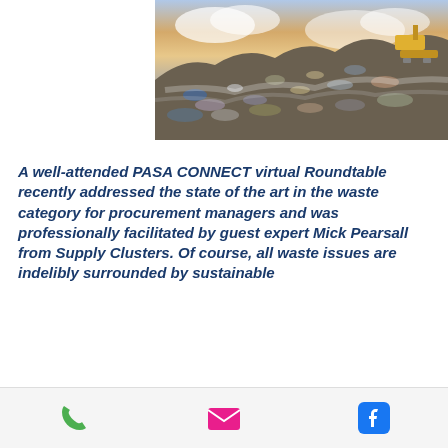[Figure (photo): A large landfill/waste dump site with piles of colourful garbage and a yellow bulldozer/crane visible at the top right, against a cloudy sky.]
A well-attended PASA CONNECT virtual Roundtable recently addressed the state of the art in the waste category for procurement managers and was professionally facilitated by guest expert Mick Pearsall from Supply Clusters. Of course, all waste issues are indelibly surrounded by sustainable
Phone, Email, Facebook icons